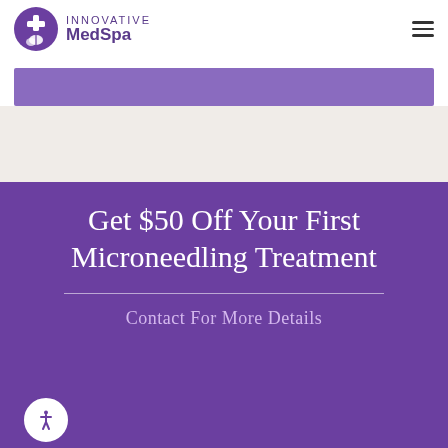Innovative MedSpa
[Figure (logo): Innovative MedSpa logo with purple circle containing a cross and leaf/plant icon, with INNOVATIVE MedSpa text in purple to the right]
Get $50 Off Your First Microneedling Treatment
Contact For More Details